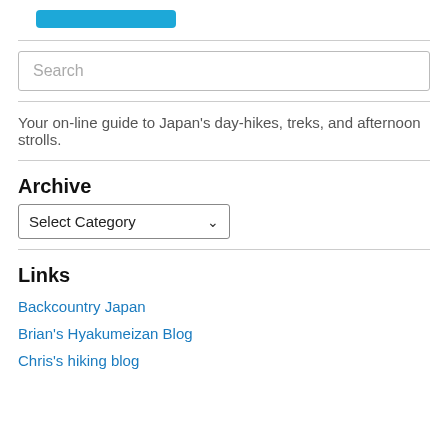[Figure (other): Blue button/banner at top of sidebar]
Search
Your on-line guide to Japan's day-hikes, treks, and afternoon strolls.
Archive
Select Category
Links
Backcountry Japan
Brian's Hyakumeizan Blog
Chris's hiking blog